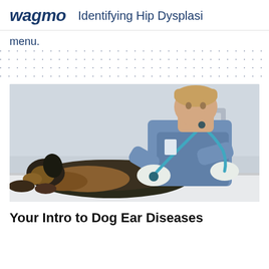wagmo  |  Identifying Hip Dysplasi...
menu.
[Figure (photo): A male veterinarian wearing blue scrubs and white latex gloves examines a German Shepherd dog lying on a white examination table, using a stethoscope on the dog's body.]
Your Intro to Dog Ear Diseases